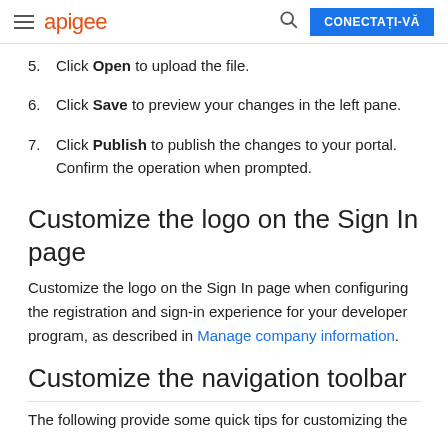apigee | CONECTAȚI-VĂ
5. Click Open to upload the file.
6. Click Save to preview your changes in the left pane.
7. Click Publish to publish the changes to your portal. Confirm the operation when prompted.
Customize the logo on the Sign In page
Customize the logo on the Sign In page when configuring the registration and sign-in experience for your developer program, as described in Manage company information.
Customize the navigation toolbar
The following provide some quick tips for customizing the